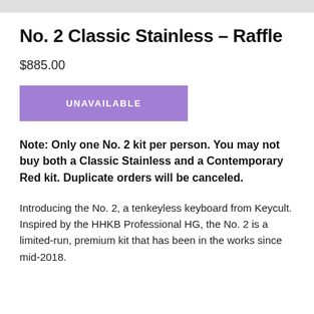No. 2 Classic Stainless – Raffle
$885.00
[Figure (other): Purple 'UNAVAILABLE' button]
Note: Only one No. 2 kit per person. You may not buy both a Classic Stainless and a Contemporary Red kit. Duplicate orders will be canceled.
Introducing the No. 2, a tenkeyless keyboard from Keycult. Inspired by the HHKB Professional HG, the No. 2 is a limited-run, premium kit that has been in the works since mid-2018.